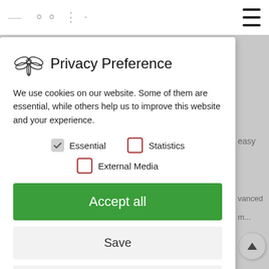[Figure (screenshot): Website header with partial logo text and hamburger menu icon]
Privacy Preference
We use cookies on our website. Some of them are essential, while others help us to improve this website and your experience.
Essential (checked)
Statistics (unchecked)
External Media (unchecked)
Accept all
Save
Accept only essential cookies
Individual Privacy Preferences
Cookie Details | Privacy Policy | Imprint